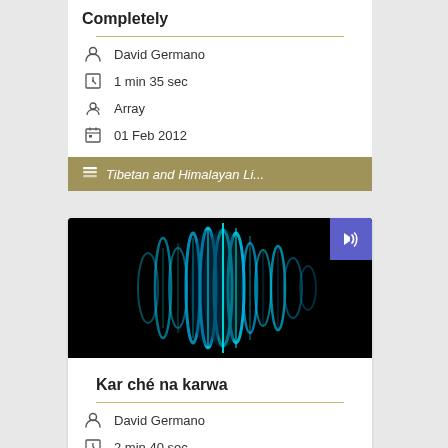Completely
David Germano
1 min 35 sec
Array
01 Feb 2012
Tibetan and Himalayan Li...
[Figure (other): Audio waveform thumbnail on black background with cyan/teal waveform visualization and speaker icon badge in top-right corner]
Kar ché na karwa
David Germano
2 min 40 sec
Array
01 Feb 2012
Tibetan and Himalayan Li...
[Figure (other): Partial audio waveform thumbnail at bottom of page]